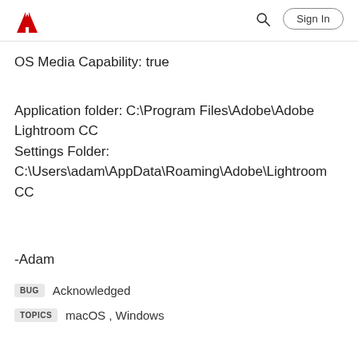Adobe | Sign In
OS Media Capability: true
Application folder: C:\Program Files\Adobe\Adobe Lightroom CC
Settings Folder: C:\Users\adam\AppData\Roaming\Adobe\Lightroom CC
-Adam
BUG   Acknowledged
TOPICS   macOS , Windows